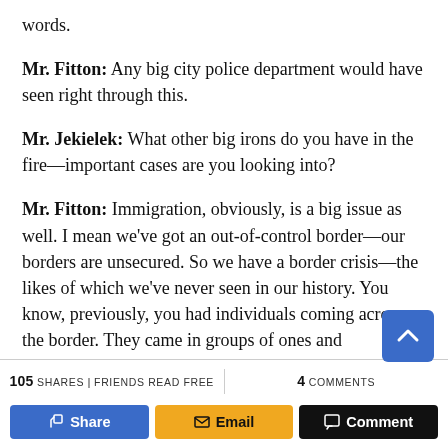words.
Mr. Fitton: Any big city police department would have seen right through this.
Mr. Jekielek: What other big irons do you have in the fire—important cases are you looking into?
Mr. Fitton: Immigration, obviously, is a big issue as well. I mean we've got an out-of-control border—our borders are unsecured. So we have a border crisis—the likes of which we've never seen in our history. You know, previously, you had individuals coming across the border. They came in groups of ones and
105 SHARES | FRIENDS READ FREE   4 COMMENTS   [Share] [Email] [Comment]